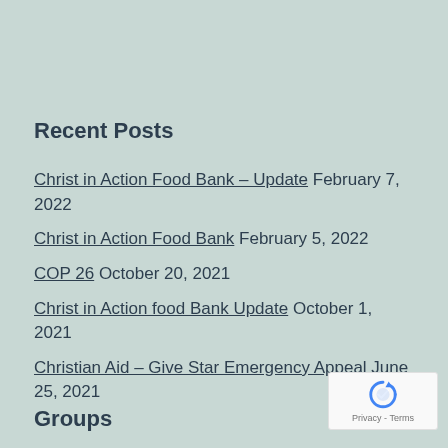Recent Posts
Christ in Action Food Bank – Update February 7, 2022
Christ in Action Food Bank February 5, 2022
COP 26 October 20, 2021
Christ in Action food Bank Update October 1, 2021
Christian Aid – Give Star Emergency Appeal June 25, 2021
Groups